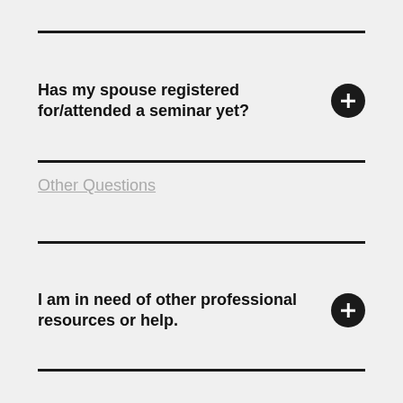Has my spouse registered for/attended a seminar yet?
Other Questions
I am in need of other professional resources or help.